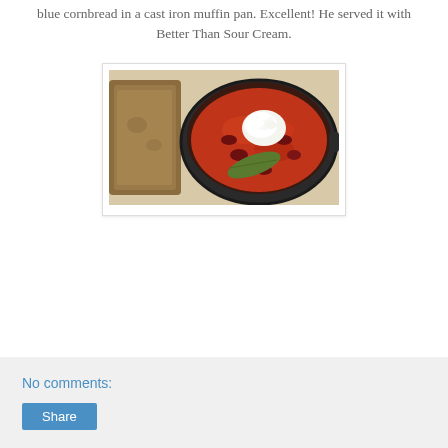blue cornbread in a cast iron muffin pan. Excellent! He served it with Better Than Sour Cream.
[Figure (photo): A bowl of chili with kidney beans, tomato sauce, bay leaf, and a dollop of sour cream, served in a black cast iron bowl alongside pieces of brown cornbread on a white plate.]
No comments: